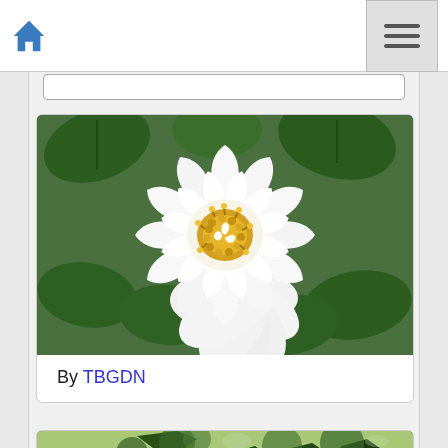Navigation bar with home icon and hamburger menu
[Figure (photo): A large white peony or rugosa rose flower with yellow stamens in the center, surrounded by dark green leaves. Card with caption below.]
By TBGDN
[Figure (photo): Partially visible photo of a large green tree, shown at the bottom of the page.]